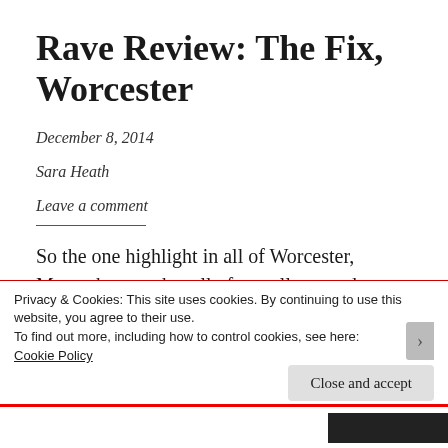Rave Review: The Fix, Worcester
December 8, 2014
Sara Heath
Leave a comment
So the one highlight in all of Worcester, Massachusetts that all of us college students are able to look to with excitement and joy is
Privacy & Cookies: This site uses cookies. By continuing to use this website, you agree to their use.
To find out more, including how to control cookies, see here:
Cookie Policy
Close and accept